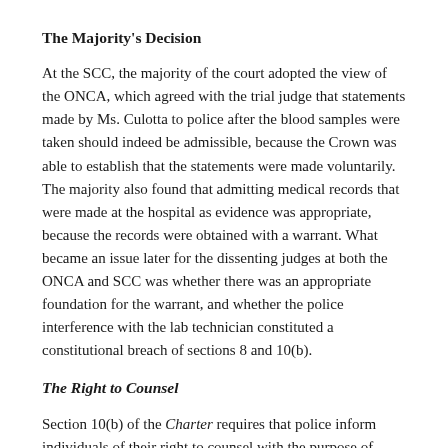The Majority's Decision
At the SCC, the majority of the court adopted the view of the ONCA, which agreed with the trial judge that statements made by Ms. Culotta to police after the blood samples were taken should indeed be admissible, because the Crown was able to establish that the statements were made voluntarily. The majority also found that admitting medical records that were made at the hospital as evidence was appropriate, because the records were obtained with a warrant. What became an issue later for the dissenting judges at both the ONCA and SCC was whether there was an appropriate foundation for the warrant, and whether the police interference with the lab technician constituted a constitutional breach of sections 8 and 10(b).
The Right to Counsel
Section 10(b) of the Charter requires that police inform individuals of their right to counsel with the purpose of providing…